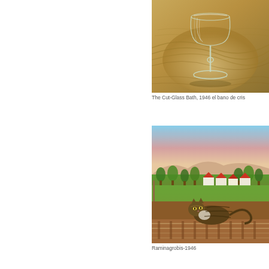[Figure (photo): Painting of a cut-glass goblet or wine glass on a textured golden-brown background, showing the glass with its stem and base in detail.]
The Cut-Glass Bath, 1946 el bano de cris
[Figure (photo): Painting of a cat (tabby) resting on what appears to be a rooftop or railway tracks, with a landscape of white houses with red roofs, green trees, and a pinkish sky in the background.]
Raminagrobis-1946